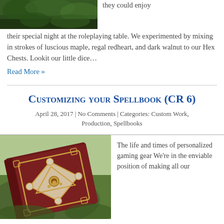[Figure (photo): Top partial photo of plants/foliage, dark green]
they could enjoy their special night at the roleplaying table. We experimented by mixing in strokes of luscious maple, regal redheart, and dark walnut to our Hex Chests. Lookit our little dice…
Read More »
Customizing your Spellbook (CR 6)
April 28, 2017 | No Comments | Categories: Custom Work, Production, Spellbooks
[Figure (photo): Photo of a dark red leather-bound spellbook with decorative gold inlay design, resting on mossy rock outdoors]
The life and times of personalized gaming gear We're in the enviable position of making all our